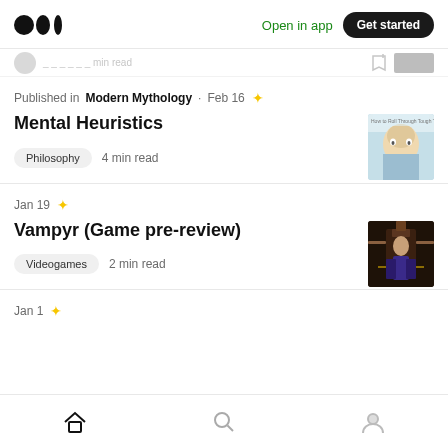Medium logo | Open in app | Get started
[Cut-off row: author info, bookmark, image thumbnail]
Published in Modern Mythology · Feb 16 ★
Mental Heuristics
Philosophy   4 min read
Jan 19 ★
Vampyr (Game pre-review)
Videogames   2 min read
Jan 1 ★
Home | Search | Profile